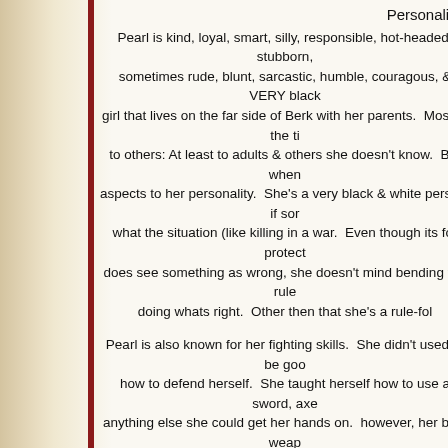Personality:
Pearl is kind, loyal, smart, silly, responsible, hot-headed, stubborn, sometimes rude, blunt, sarcastic, humble, couragous, & VERY black girl that lives on the far side of Berk with her parents. Most of the ti to others: At least to adults & others she doesn't know. But when aspects to her personality. She's a very black & white person: if sor what the situation (like killing in a war. Even though its for protect does see something as wrong, she doesn't mind bending the rule doing whats right. Other then that she's a rule-fol
Pearl is also known for her fighting skills. She didn't used to be goo how to defend herself. She taught herself how to use a sword, axe anything else she could get her hands on. however, her best weap wise, Pearl was never really good at a lot of regular viking girl things she's learned how to withstand criticism well. It comes in very han dragon hunters. In her years on her own, Pearl also learned how she's arguing with think they've won, before pulling the mat out fron riding skills, making whoever she's racing think they've won befo passing them.
Pearl might sound a little rough around the edges, or even a little ba rude & short at times, but she has a much softer, caring side that co her friends actually. She might mess with them, call them names, loves them. She's kind to them often, and she's always loyal to thing which is ir someone they got to bec ome... But s